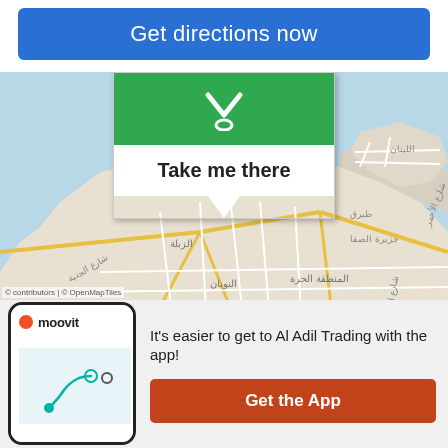Get directions now
[Figure (map): Street map showing Ajman area (UAE) with Arabic place labels, road network, coastline, and a green map popup balloon with 'Take me there' label]
Take me there
It's easier to get to Al Adil Trading with the app!
Get the App